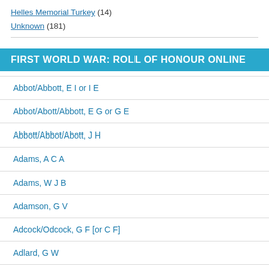Helles Memorial Turkey (14)
Unknown (181)
FIRST WORLD WAR: ROLL OF HONOUR ONLINE
Abbot/Abbott, E I or I E
Abbot/Abott/Abbott, E G or G E
Abbott/Abbot/Abott, J H
Adams, A C A
Adams, W J B
Adamson, G V
Adcock/Odcock, G F [or C F]
Adlard, G W
Aedy, (T) E